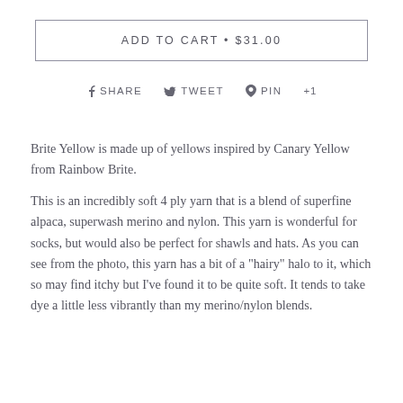ADD TO CART • $31.00
f SHARE  🐦 TWEET  ℗ PIN  +1
Brite Yellow is made up of yellows inspired by Canary Yellow from Rainbow Brite.

This is an incredibly soft 4 ply yarn that is a blend of superfine alpaca, superwash merino and nylon. This yarn is wonderful for socks, but would also be perfect for shawls and hats. As you can see from the photo, this yarn has a bit of a "hairy" halo to it, which so may find itchy but I've found it to be quite soft. It tends to take dye a little less vibrantly than my merino/nylon blends.